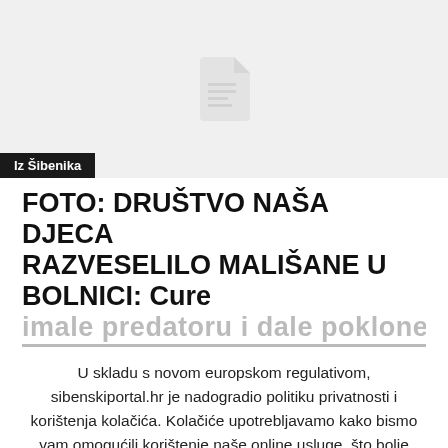[Figure (other): Image placeholder with document icon on light grey background]
Iz Šibenika
FOTO: DRUŠTVO NAŠA DJECA RAZVESELILO MALIŠANE U BOLNICI: Cure imale predatoru i dale poklone
U skladu s novom europskom regulativom, sibenskiportal.hr je nadogradio politiku privatnosti i korištenja kolačića. Kolačiće upotrebljavamo kako bismo vam omogućili korištenje naše online usluge, što bolje korisničko iskustvo i funkcionalnost naših web stranica, prikaz reklamnih sadržaja i ostale funkcionalnosti koje inače ne bismo mogli pružati. Daljnjim korištenjem naše web stranice, suglasni ste s korištenjem kolačića.
Razumijem
Saznajte više.